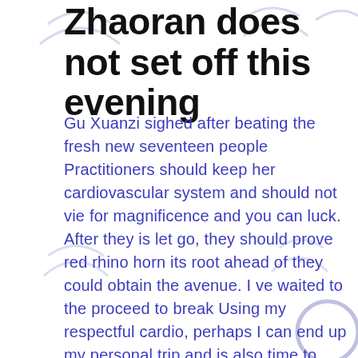Zhaoran does not set off this evening
Gu Xuanzi sighed after beating the fresh new seventeen people Practitioners should keep her cardiovascular system and should not vie for magnificence and you can luck. After they is let go, they should prove red rhino horn its root ahead of they could obtain the avenue. I ve waited to the proceed to break Using my respectful cardio, perhaps I can end up my personal trip and is also time to come back to the brand new Eastern Asia Sea. Now I delineate the limitations from Xianfan for other people, and those who routine Taoism should not meddle throughout the endeavor between the prominent people in the country, and additionally they is t bequeath the life.
Folk checked out the newest gold of them grandpas, and of course there clearly was no longer shock. They s exactly that Xiao Wenyuan and Lu Jinglong